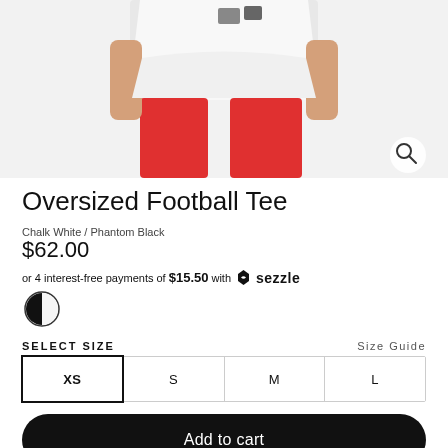[Figure (photo): Product photo showing lower torso of a person wearing a white oversized football tee and red leggings/pants, with a magnify/search icon in the bottom right corner of the image]
Oversized Football Tee
Chalk White / Phantom Black
$62.00
or 4 interest-free payments of $15.50 with Sezzle
[Figure (other): Color swatch circle showing half black, half white, representing Chalk White / Phantom Black colorway]
Select Size
Size Guide
XS
S
M
L
Add to cart